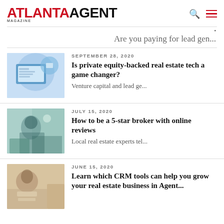ATLANTA AGENT MAGAZINE
Are you paying for lead gen...
SEPTEMBER 28, 2020 — Is private equity-backed real estate tech a game changer? Venture capital and lead ge...
JULY 15, 2020 — How to be a 5-star broker with online reviews. Local real estate experts tel...
JUNE 15, 2020 — Learn which CRM tools can help you grow your real estate business in Agent...